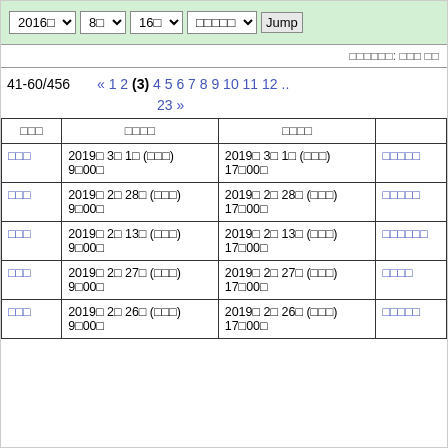[Figure (screenshot): Navigation bar with year/month/day dropdowns and Jump button on green background]
□□□□□□: □□□ □□
41-60/456
« 1 2 (3) 4 5 6 7 8 9 10 11 12 .. 23 »
| □□□ | □□□□ | □□□□ |
| --- | --- | --- |
| □□□ | 2019□ 3□ 1□ (□□□)
9□00□ | 2019□ 3□ 1□ (□□□)
17□00□ | □□□□□ |
| □□□ | 2019□ 2□ 28□ (□□□)
9□00□ | 2019□ 2□ 28□ (□□□)
17□00□ | □□□□□ |
| □□□ | 2019□ 2□ 13□ (□□□)
9□00□ | 2019□ 2□ 13□ (□□□)
17□00□ | □□□□□□ |
| □□□ | 2019□ 2□ 27□ (□□□)
9□00□ | 2019□ 2□ 27□ (□□□)
17□00□ | □□□□ |
| □□□ | 2019□ 2□ 26□ (□□□)
9□00□ | 2019□ 2□ 26□ (□□□)
17□00□ | □□□□□ |